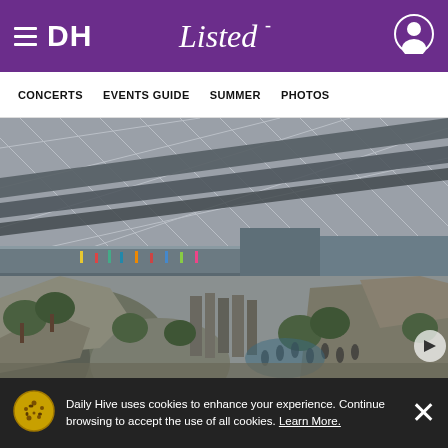DH Listed — navigation header with hamburger menu and user icon
CONCERTS   EVENTS GUIDE   SUMMER   PHOTOS
[Figure (photo): Interior rendering of a large indoor attraction with a latticed/mesh roof structure and a rocky landscape with visitors walking among rock formations and trees below]
Daily Hive uses cookies to enhance your experience. Continue browsing to accept the use of all cookies. Learn More.